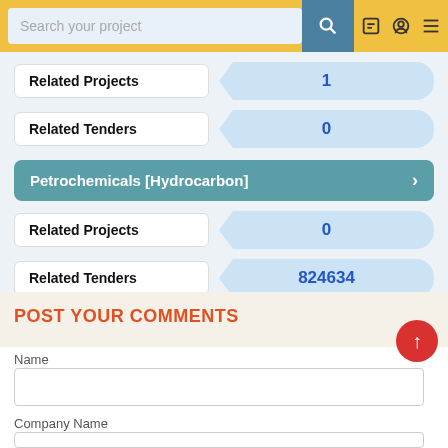Search your project
Related Projects  1
Related Tenders  0
Petrochemicals [Hydrocarbon]
Related Projects  0
Related Tenders  824634
POST YOUR COMMENTS
Name
Company Name